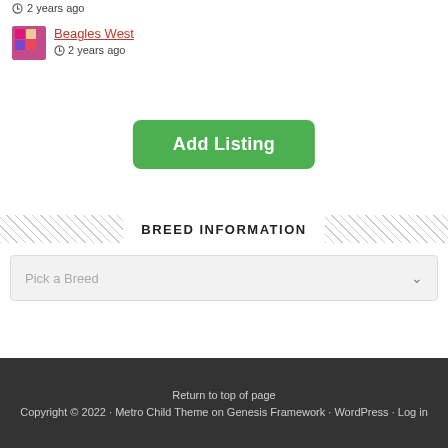2 years ago
Beagles West · 2 years ago
Add Listing
BREED INFORMATION
Pick a Breed
Return to top of page · Copyright © 2022 · Metro Child Theme on Genesis Framework · WordPress · Log in